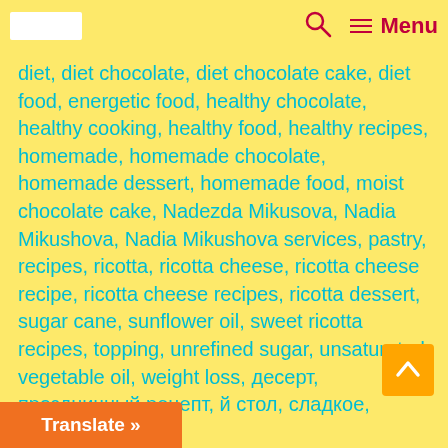[Logo] [Search icon] Menu
diet, diet chocolate, diet chocolate cake, diet food, energetic food, healthy chocolate, healthy cooking, healthy food, healthy recipes, homemade, homemade chocolate, homemade dessert, homemade food, moist chocolate cake, Nadezda Mikusova, Nadia Mikushova, Nadia Mikushova services, pastry, recipes, ricotta, ricotta cheese, ricotta cheese recipe, ricotta cheese recipes, ricotta dessert, sugar cane, sunflower oil, sweet ricotta recipes, topping, unrefined sugar, unsaturated vegetable oil, weight loss, десерт, праздничный рецепт, й стол, сладкое, шоколад